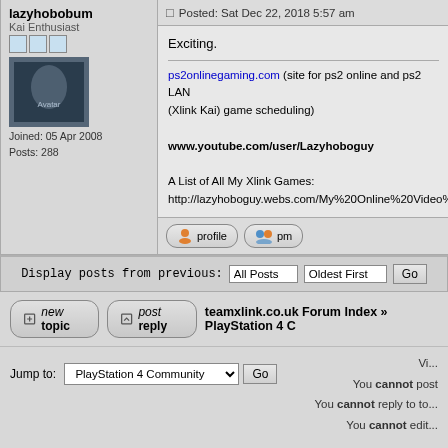lazyhobobum
Kai Enthusiast
Joined: 05 Apr 2008
Posts: 288
Posted: Sat Dec 22, 2018 5:57 am
Exciting.

ps2onlinegaming.com (site for ps2 online and ps2 LAN (Xlink Kai) game scheduling)

www.youtube.com/user/Lazyhoboguy

A List of All My Xlink Games:
http://lazyhoboguy.webs.com/My%20Online%20Video%...
Display posts from previous:  All Posts  Oldest First  Go
teamxlink.co.uk Forum Index » PlayStation 4 C...
Jump to: PlayStation 4 Community  Go
You cannot post
You cannot reply to to...
You cannot edit...
You cannot delete...
You cannot vote in p...
Powered by phpBB © 2001, 2002 phpBB Group :: Theme by Daz :: All times are G...